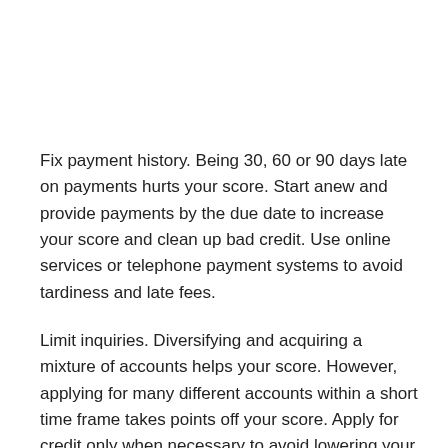Fix payment history. Being 30, 60 or 90 days late on payments hurts your score. Start anew and provide payments by the due date to increase your score and clean up bad credit. Use online services or telephone payment systems to avoid tardiness and late fees.
Limit inquiries. Diversifying and acquiring a mixture of accounts helps your score. However, applying for many different accounts within a short time frame takes points off your score. Apply for credit only when necessary to avoid lowering your credit score.
References